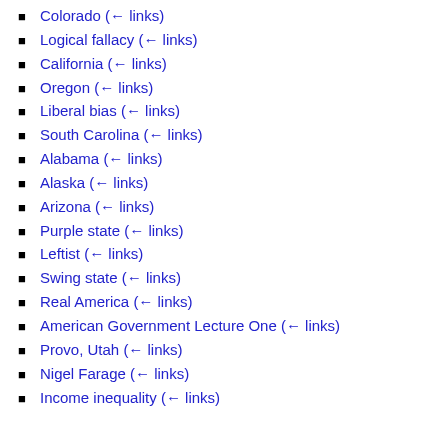Colorado  (← links)
Logical fallacy  (← links)
California  (← links)
Oregon  (← links)
Liberal bias  (← links)
South Carolina  (← links)
Alabama  (← links)
Alaska  (← links)
Arizona  (← links)
Purple state  (← links)
Leftist  (← links)
Swing state  (← links)
Real America  (← links)
American Government Lecture One  (← links)
Provo, Utah  (← links)
Nigel Farage  (← links)
Income inequality  (← links)